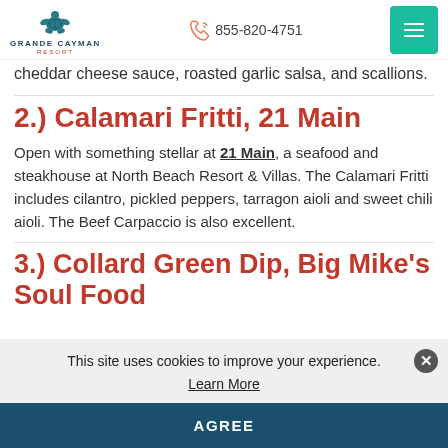Grande Cayman Resort | 855-820-4751
cheddar cheese sauce, roasted garlic salsa, and scallions.
2.) Calamari Fritti, 21 Main
Open with something stellar at 21 Main, a seafood and steakhouse at North Beach Resort & Villas. The Calamari Fritti includes cilantro, pickled peppers, tarragon aioli and sweet chili aioli. The Beef Carpaccio is also excellent.
3.) Collard Green Dip, Big Mike's Soul Food
This site uses cookies to improve your experience.
Learn More
AGREE